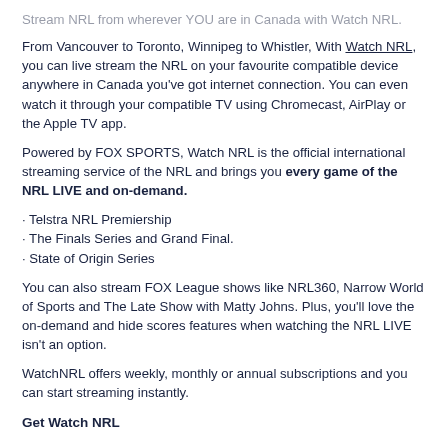Stream NRL from wherever YOU are in Canada with Watch NRL.
From Vancouver to Toronto, Winnipeg to Whistler, With Watch NRL, you can live stream the NRL on your favourite compatible device anywhere in Canada you've got internet connection. You can even watch it through your compatible TV using Chromecast, AirPlay or the Apple TV app.
Powered by FOX SPORTS, Watch NRL is the official international streaming service of the NRL and brings you every game of the NRL LIVE and on-demand.
· Telstra NRL Premiership
· The Finals Series and Grand Final.
· State of Origin Series
You can also stream FOX League shows like NRL360, Narrow World of Sports and The Late Show with Matty Johns. Plus, you'll love the on-demand and hide scores features when watching the NRL LIVE isn't an option.
WatchNRL offers weekly, monthly or annual subscriptions and you can start streaming instantly.
Get Watch NRL